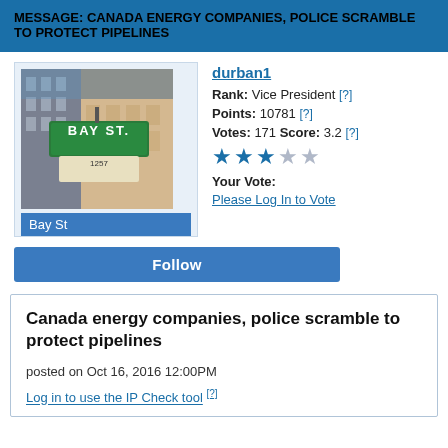MESSAGE: CANADA ENERGY COMPANIES, POLICE SCRAMBLE TO PROTECT PIPELINES
[Figure (photo): Street sign for Bay St (green sign, number 1257) with a building in the background. Below the photo is a blue label reading 'Bay St'.]
durban1
Rank: Vice President [?]
Points: 10781 [?]
Votes: 171 Score: 3.2 [?]
★★★☆☆
Your Vote:
Please Log In to Vote
Follow
Canada energy companies, police scramble to protect pipelines
posted on Oct 16, 2016 12:00PM
Log in to use the IP Check tool [?]